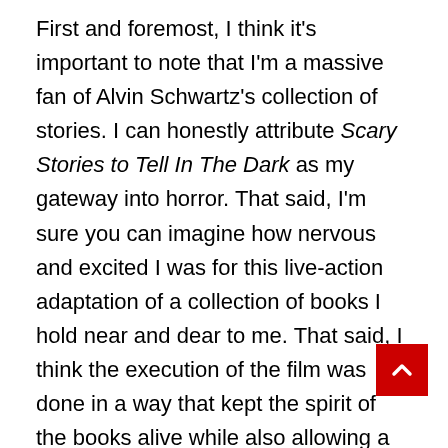First and foremost, I think it's important to note that I'm a massive fan of Alvin Schwartz's collection of stories. I can honestly attribute Scary Stories to Tell In The Dark as my gateway into horror. That said, I'm sure you can imagine how nervous and excited I was for this live-action adaptation of a collection of books I hold near and dear to me. That said, I think the execution of the film was done in a way that kept the spirit of the books alive while also allowing a new generation of fans to embrace the horrors that we, the older generation, experienced upon reading them as kids. At its core, this is a coming-of-age film that focuses on a group of teens who find a book of scary stories written by the elusive and mysterious Sarah Bellows. Using that as the wraparound tale, it allows these Schwartz's famous stories to come alive throu Sarah Bellows. I don't want to spoil anything in regards to